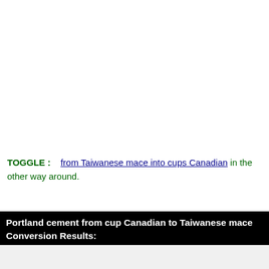TOGGLE :   from Taiwanese mace into cups Canadian in the other way around.
Portland cement from cup Canadian to Taiwanese mace Conversion Results: